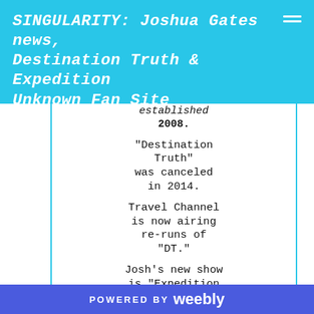SINGULARITY: Joshua Gates news, Destination Truth & Expedition Unknown Fan Site
established 2008.
"Destination Truth" was canceled in 2014.
Travel Channel is now airing re-runs of "DT."
Josh's new show is "Expedition Unknown" & is currently
POWERED BY weebly